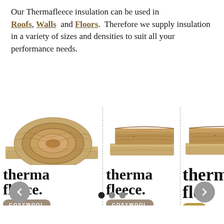Our Thermafleece insulation can be used in Roofs, Walls and Floors. Therefore we supply insulation in a variety of sizes and densities to suit all your performance needs.
[Figure (illustration): A product carousel showing three Thermafleece insulation products side by side with vertical dashed dividers. Left product: a rolled wool batt with 'therma fleece. COSYWOOL' branding. Middle product: a stacked flat batt with 'therma fleece. COSYWOOL' branding. Right product (partially visible): similar stacked batt with 'therma fleece. ULT...' branding. Navigation arrows on left (<) and right (>) at the bottom, with three carousel dots below the products.]